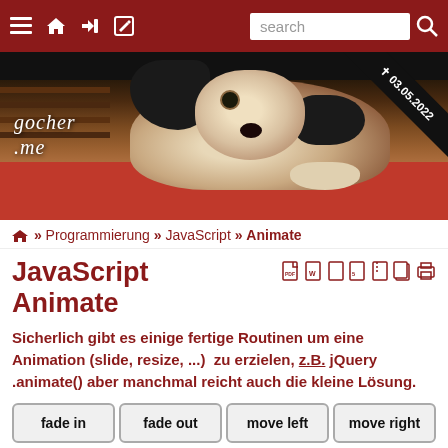Navigation bar with menu, home, login, edit icons and search box
[Figure (photo): Hero image of a small black-and-white Jack Russell terrier dog lying on a red carpet under furniture, with gocher.me logo overlaid and a date ribbon showing 03.05.2022]
⌂ » Programmierung » JavaScript » Animate
JavaScript Animate
Sicherlich gibt es einige fertige Routinen um eine Animation (slide, resize, ...) zu erzielen, z.B. jQuery .animate() aber manchmal reicht auch die kleine Lösung.
fade in
fade out
move left
move right